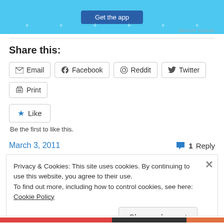[Figure (screenshot): Light blue app advertisement banner with a dark blue 'Get the app' button and decorative dots]
REPORT THIS AD
Share this:
Email  Facebook  Reddit  Twitter  Print
Like
Be the first to like this.
March 3, 2011
1 Reply
Privacy & Cookies: This site uses cookies. By continuing to use this website, you agree to their use.
To find out more, including how to control cookies, see here: Cookie Policy
Close and accept